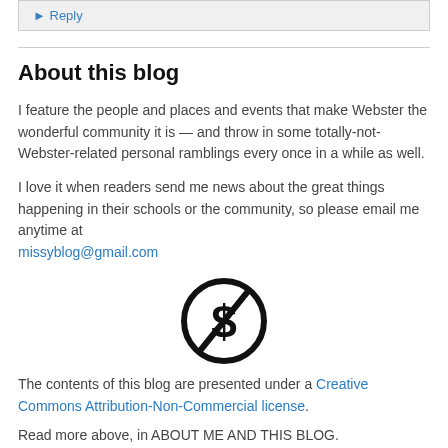▶ Reply
About this blog
I feature the people and places and events that make Webster the wonderful community it is — and throw in some totally-not-Webster-related personal ramblings every once in a while as well.
I love it when readers send me news about the great things happening in their schools or the community, so please email me anytime at missyblog@gmail.com
[Figure (illustration): A black circle with a dollar sign crossed out (non-commercial creative commons symbol)]
The contents of this blog are presented under a Creative Commons Attribution-Non-Commercial license.
Read more above, in ABOUT ME AND THIS BLOG.